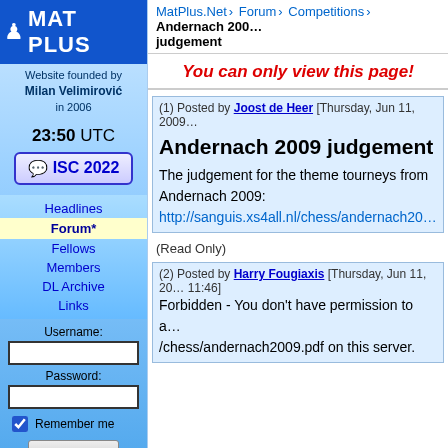MAT PLUS - Website founded by Milan Velimirović in 2006
MatPlus.Net › Forum › Competitions › Andernach 2009 judgement
23:50 UTC
ISC 2022
Headlines
Forum*
Fellows
Members
DL Archive
Links
Username:
Password:
Remember me
Log Me In
Forgot your
You can only view this page!
(1) Posted by Joost de Heer [Thursday, Jun 11, 2009]
Andernach 2009 judgement
The judgement for the theme tourneys from Andernach 2009:
http://sanguis.xs4all.nl/chess/andernach2009.pdf
(Read Only)
(2) Posted by Harry Fougiaxis [Thursday, Jun 11, 2009, 11:46]
Forbidden - You don't have permission to access /chess/andernach2009.pdf on this server.